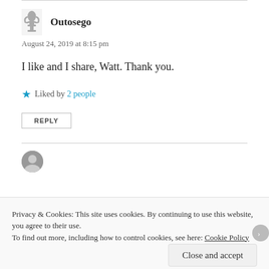[Figure (illustration): Gravatar avatar icon for user Outosego — small trophy/figure silhouette in grayscale]
Outosego
August 24, 2019 at 8:15 pm
I like and I share, Watt. Thank you.
Liked by 2 people
REPLY
[Figure (photo): Partial circular avatar photo of another commenter, partially visible at bottom]
Privacy & Cookies: This site uses cookies. By continuing to use this website, you agree to their use.
To find out more, including how to control cookies, see here: Cookie Policy
Close and accept